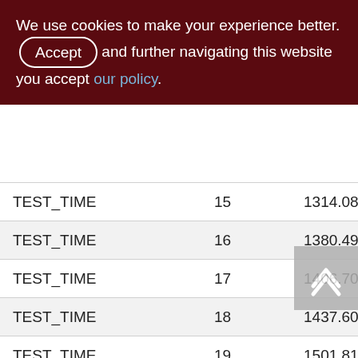We use cookies to make your experience better. By accepting and further navigating this website you accept our policy.
| TEST_TIME | 15 | 1314.08 |
| TEST_TIME | 16 | 1380.49 |
| TEST_TIME | 17 | 1406.70 |
| TEST_TIME | 18 | 1437.60 |
| TEST_TIME | 19 | 1501.81 |
| TEST_TIME | 20 | 1568.33 |
| TEST_TIME | 21 | 1606.03 |
| TEST_TIME | 22 | 1339.95 |
| TEST_TIME | 23 | 1622.07 |